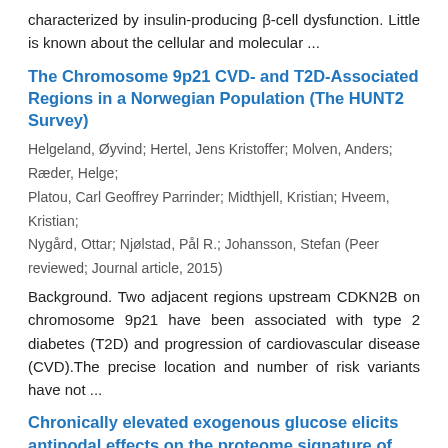characterized by insulin-producing β-cell dysfunction. Little is known about the cellular and molecular ...
The Chromosome 9p21 CVD- and T2D-Associated Regions in a Norwegian Population (The HUNT2 Survey)
Helgeland, Øyvind; Hertel, Jens Kristoffer; Molven, Anders; Ræder, Helge; Platou, Carl Geoffrey Parrinder; Midthjell, Kristian; Hveem, Kristian; Nygård, Ottar; Njølstad, Pål R.; Johansson, Stefan (Peer reviewed; Journal article, 2015)
Background. Two adjacent regions upstream CDKN2B on chromosome 9p21 have been associated with type 2 diabetes (T2D) and progression of cardiovascular disease (CVD).The precise location and number of risk variants have not ...
Chronically elevated exogenous glucose elicits antipodal effects on the proteome signature of differentiating human iPSC-derived pancreatic progenitors
Ghila, Luiza; Legøy, Thomas Aga; Mathisen, Andreas Frøslev; Abadpour, Shadab; Paulo, Joao A.; Scholz, Hanne Bjørnson; Ræder, Helge; Chera,